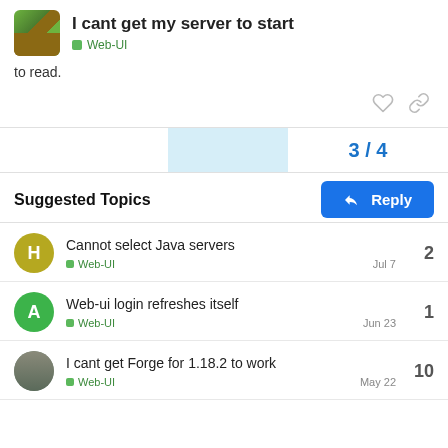I cant get my server to start — Web-UI
to read.
3 / 4
Reply
Suggested Topics
Cannot select Java servers — Web-UI — Jul 7 — 2
Web-ui login refreshes itself — Web-UI — Jun 23 — 1
I cant get Forge for 1.18.2 to work — Web-UI — May 22 — 10